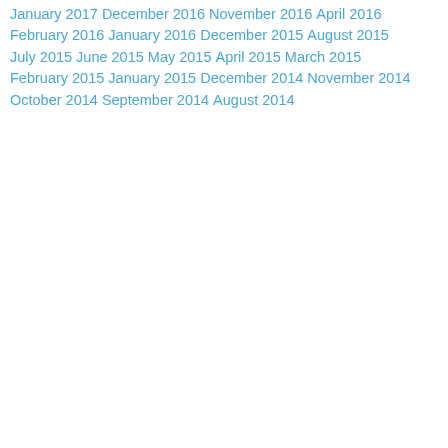January 2017
December 2016
November 2016
April 2016
February 2016
January 2016
December 2015
August 2015
July 2015
June 2015
May 2015
April 2015
March 2015
February 2015
January 2015
December 2014
November 2014
October 2014
September 2014
August 2014